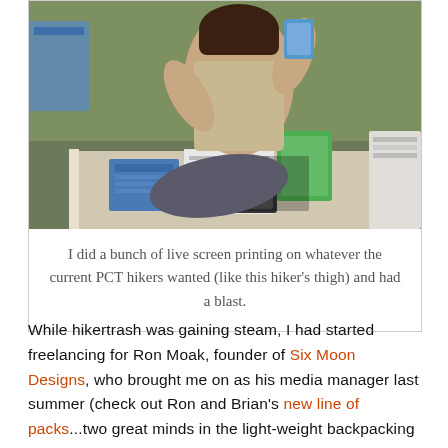[Figure (photo): Outdoor photo of a person doing live screen printing on a hiker's thigh. A table with papers and supplies is visible in front, with green grass in the background.]
I did a bunch of live screen printing on whatever the current PCT hikers wanted (like this hiker's thigh) and had a blast.
While hikertrash was gaining steam, I had started freelancing for Ron Moak, founder of Six Moon Designs, who brought me on as his media manager last summer (check out Ron and Brian's new line of packs...two great minds in the light-weight backpacking industry collaborating together).